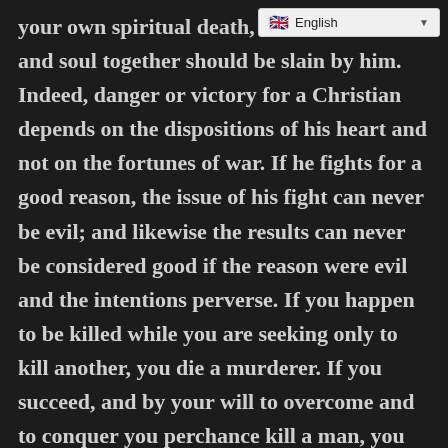your own spiritual death, or lest both body and soul together should be slain by him. Indeed, danger or victory for a Christian depends on the dispositions of his heart and not on the fortunes of war. If he fights for a good reason, the issue of his fight can never be evil; and likewise the results can never be considered good if the reason were evil and the intentions perverse. If you happen to be killed while you are seeking only to kill another, you die a murderer. If you succeed, and by your will to overcome and to conquer you perchance kill a man, you live a murderer. Now it will not do to be a murderer, living or dead, victorious or vanquished. What an unhappy victory–to have conquered a man while yielding to vice, and to indulge in an empty glory at his fall when wrath and pride have gotten the better of you.